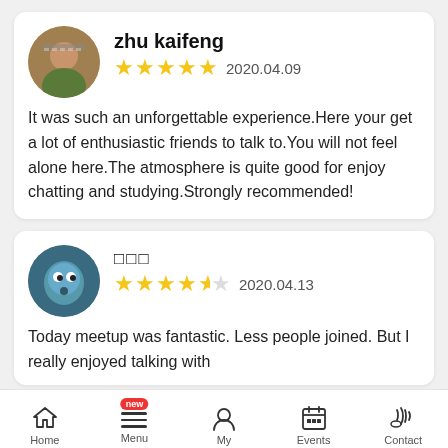zhu kaifeng
★★★★★ 2020.04.09
It was such an unforgettable experience.Here your get a lot of enthusiastic friends to talk to.You will not feel alone here.The atmosphere is quite good for enjoy chatting and studying.Strongly recommended!
□□□
★★★★½ 2020.04.13
Today meetup was fantastic. Less people joined. But I really enjoyed talking with
Home   Menu   My   Events   Contact